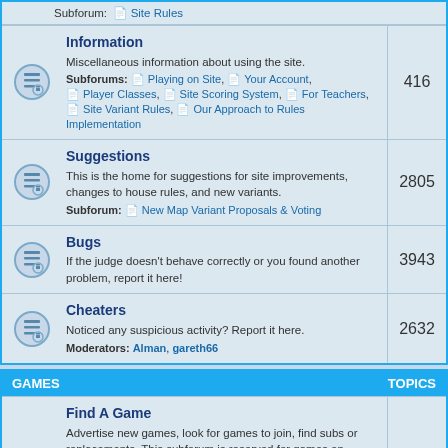Subforum: Site Rules
Information | 416
Miscellaneous information about using the site. Subforums: Playing on Site, Your Account, Player Classes, Site Scoring System, For Teachers, Site Variant Rules, Our Approach to Rules Implementation
Suggestions | 2805
This is the home for suggestions for site improvements, changes to house rules, and new variants. Subforum: New Map Variant Proposals & Voting
Bugs | 3943
If the judge doesn't behave correctly or you found another problem, report it here!
Cheaters | 2632
Noticed any suspicious activity? Report it here. Moderators: Alman, gareth66
GAMES | TOPICS
Find A Game | 7601
Advertise new games, look for games to join, find subs or replacements. This subforum is reserved for games on www.playdiplomacy.com. Please use Offsite Game Recruitment for games unaffiliated with either PlayDiplomacy or the PlayDiplomacy forums. Moderator: NoPunIn10Did Subforums: Non-English Language Games, PbF Game Recruitment, Offsite Game Recruitment
Live Games | 1029
Set up a Live game here. Live games are only available to PREMIUM members. Subforum: Available for Live
Play by Forum Dip